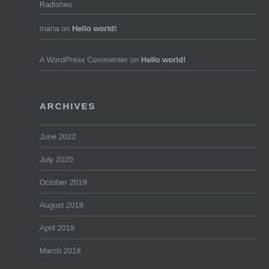Radishes
maria on Hello world!
A WordPress Commenter on Hello world!
ARCHIVES
June 2022
July 2020
October 2019
August 2018
April 2018
March 2018